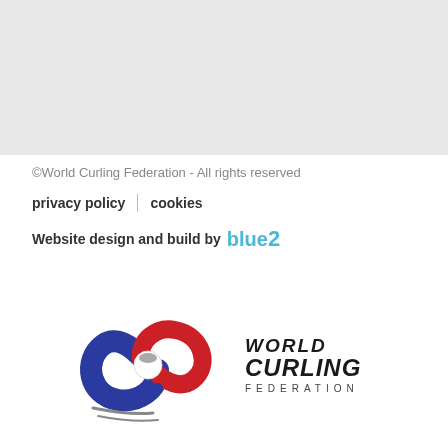[Figure (other): Grey background block at top of page]
©World Curling Federation - All rights reserved
privacy policy | cookies
Website design and build by blue2
[Figure (logo): World Curling Federation logo with curling stone graphic on left and WORLD CURLING FEDERATION text on right]